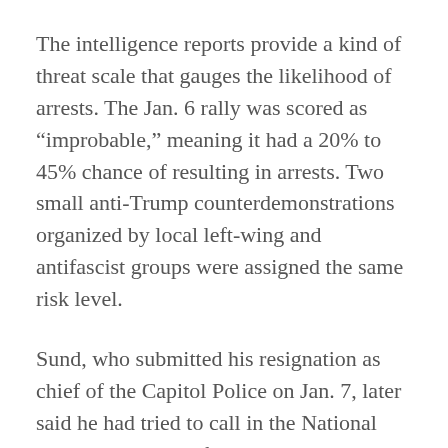The intelligence reports provide a kind of threat scale that gauges the likelihood of arrests. The Jan. 6 rally was scored as "improbable," meaning it had a 20% to 45% chance of resulting in arrests. Two small anti-Trump counterdemonstrations organized by local left-wing and antifascist groups were assigned the same risk level.
Sund, who submitted his resignation as chief of the Capitol Police on Jan. 7, later said he had tried to call in the National Guard two days before the riot. He said the sergeants-at-arms — the House and Senate officials responsible for security of lawmakers — denied his request. Both officials have since resigned. Reached by phone, former House sergeant-at-arms Paul Irving